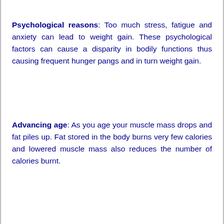Psychological reasons: Too much stress, fatigue and anxiety can lead to weight gain. These psychological factors can cause a disparity in bodily functions thus causing frequent hunger pangs and in turn weight gain.
Advancing age: As you age your muscle mass drops and fat piles up. Fat stored in the body burns very few calories and lowered muscle mass also reduces the number of calories burnt.